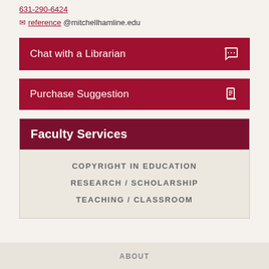✉ reference @mitchellhamline.edu
Chat with a Librarian
Purchase Suggestion
Faculty Services
COPYRIGHT IN EDUCATION
RESEARCH / SCHOLARSHIP
TEACHING / CLASSROOM
ABOUT